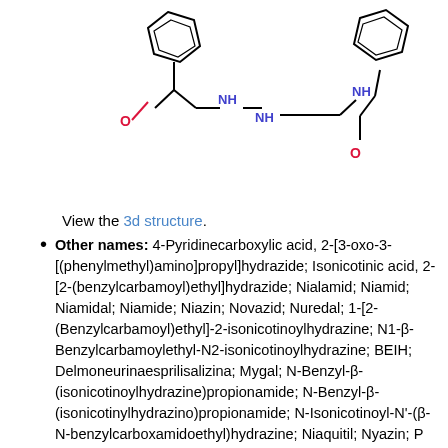[Figure (engineering-diagram): Chemical structure diagram of Nialamide showing two benzene rings, an isonicotinoyl hydrazide group on the left and a benzylcarbamoyl group on the right, connected by a propyl chain with NH linkages and two carbonyl (O=C) groups.]
View the 3d structure.
Other names: 4-Pyridinecarboxylic acid, 2-[3-oxo-3-[(phenylmethyl)amino]propyl]hydrazide; Isonicotinic acid, 2-[2-(benzylcarbamoyl)ethyl]hydrazide; Nialamid; Niamid; Niamidal; Niamide; Niazin; Novazid; Nuredal; 1-[2-(Benzylcarbamoyl)ethyl]-2-isonicotinoylhydrazine; N1-β-Benzylcarbamoylethyl-N2-isonicotinoylhydrazine; BEIH; Delmoneurinaesprilisalizina; Mygal; N-Benzyl-β-(isonicotinoylhydrazine)propionamide; N-Benzyl-β-(isonicotinylhydrazino)propionamide; N-Isonicotinoyl-N'-(β-N-benzylcarboxamidoethyl)hydrazine; Niaquitil; Nyazin; P 1133; Psicodisten; Surgex; 2-(2-(Benzylcarbamoyl)ethyl)hydrazide isonicotinic acid; N-(2-